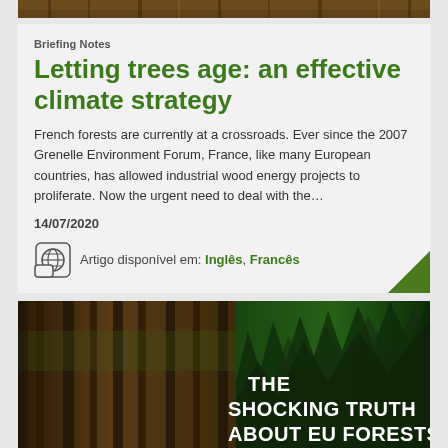[Figure (photo): Top strip showing forest/nature image]
Briefing Notes
Letting trees age: an effective climate strategy
French forests are currently at a crossroads. Ever since the 2007 Grenelle Environment Forum, France, like many European countries, has allowed industrial wood energy projects to proliferate. Now the urgent need to deal with the…
14/07/2020
Artigo disponível em: Inglês, Francês
[Figure (photo): Forest image with overlaid text reading THE SHOCKING TRUTH ABOUT EU FORESTS...]